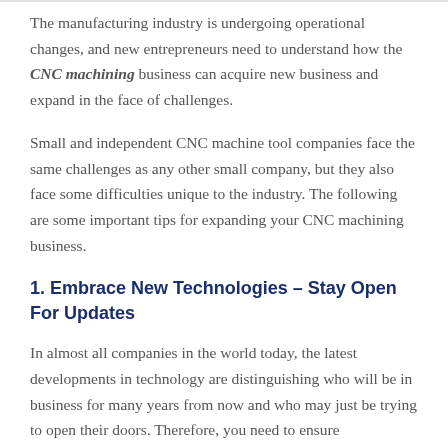The manufacturing industry is undergoing operational changes, and new entrepreneurs need to understand how the CNC machining business can acquire new business and expand in the face of challenges.
Small and independent CNC machine tool companies face the same challenges as any other small company, but they also face some difficulties unique to the industry. The following are some important tips for expanding your CNC machining business.
1. Embrace New Technologies – Stay Open For Updates
In almost all companies in the world today, the latest developments in technology are distinguishing who will be in business for many years from now and who may just be trying to open their doors. Therefore, you need to ensure